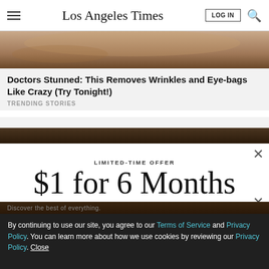Los Angeles Times
[Figure (photo): Close-up of a person's face showing skin texture, wrinkles near eyes and lips]
Doctors Stunned: This Removes Wrinkles and Eye-bags Like Crazy (Try Tonight!)
TRENDING STORIES
[Figure (photo): Dark toned partial face image, second advertisement]
LIMITED-TIME OFFER
$1 for 6 Months
SUBSCRIBE NOW
By continuing to use our site, you agree to our Terms of Service and Privacy Policy. You can learn more about how we use cookies by reviewing our Privacy Policy. Close